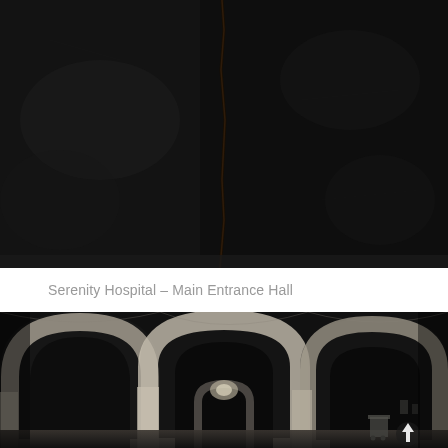[Figure (photo): Dark interior photo of a ceiling or wall surface with a vertical crack or seam running down the center, very dark and moody lighting]
Serenity Hospital – Main Entrance Hall
[Figure (photo): Interior photograph of an abandoned hospital hallway featuring large stone or concrete arched vaulted ceilings and columns receding into the distance. The space is dark and atmospheric with light coming from a distant window. A cart or trolley is visible on the right side. An upward arrow icon is visible in the lower right corner.]